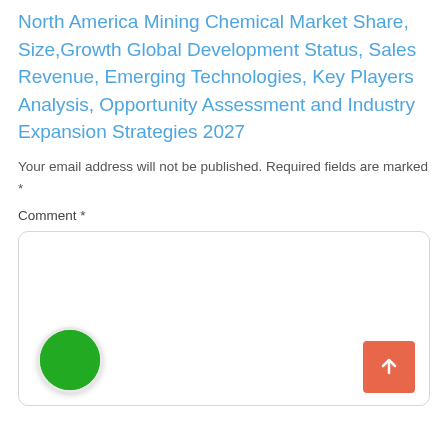North America Mining Chemical Market Share, Size,Growth Global Development Status, Sales Revenue, Emerging Technologies, Key Players Analysis, Opportunity Assessment and Industry Expansion Strategies 2027
Your email address will not be published. Required fields are marked *
Comment *
[Figure (screenshot): A comment input text area with a green circle button on the bottom left and an orange/red scroll-to-top arrow button on the bottom right]